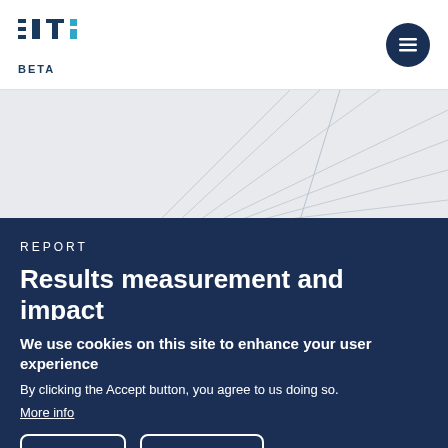[Figure (logo): EITI BETA logo in top left with dark blue and teal colors]
[Figure (illustration): Gray geometric background with intersecting lines]
REPORT
Results measurement and impact
We use cookies on this site to enhance your user experience
By clicking the Accept button, you agree to us doing so.
More info
ПРИНЯТЬ
NO, THANKS